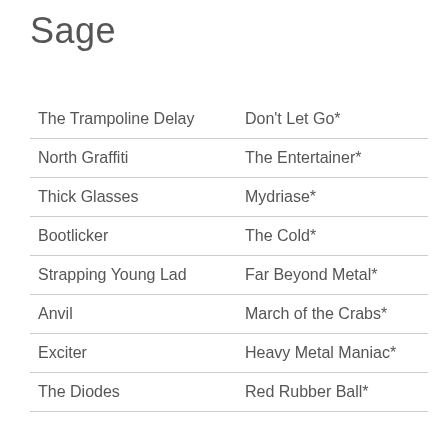Sage
| The Trampoline Delay | Don't Let Go* |
| North Graffiti | The Entertainer* |
| Thick Glasses | Mydriase* |
| Bootlicker | The Cold* |
| Strapping Young Lad | Far Beyond Metal* |
| Anvil | March of the Crabs* |
| Exciter | Heavy Metal Maniac* |
| The Diodes | Red Rubber Ball* |